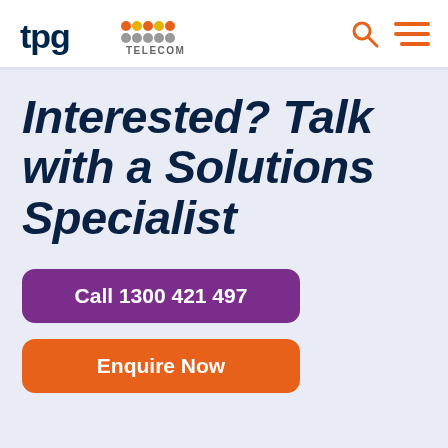TPG Telecom
Interested? Talk with a Solutions Specialist
Call 1300 421 497
Enquire Now